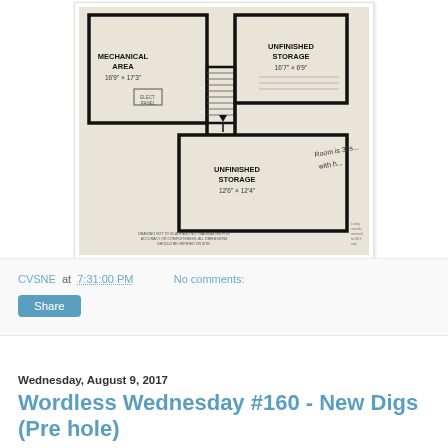[Figure (schematic): Architectural floor plan showing basement layout with labeled rooms: Mechanical Area (16'9" x 17'3"), Unfinished Storage (16'7" x 6'9"), Unfinished Storage (12'6" x 12'4"), with handwritten annotation: 'Room is 390... with h...' and a staircase area. Small print text at bottom of plan. Right edge partially cropped.]
CVSNE at 7:31:00 PM    No comments:
[Figure (other): Share button (rounded blue rectangle)]
Wednesday, August 9, 2017
Wordless Wednesday #160 - New Digs (Pre hole)